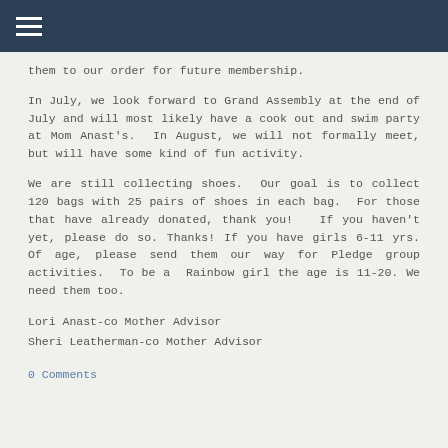≡
them to our order for future membership.
In July, we look forward to Grand Assembly at the end of July and will most likely have a cook out and swim party at Mom Anast's. In August, we will not formally meet, but will have some kind of fun activity.
We are still collecting shoes. Our goal is to collect 120 bags with 25 pairs of shoes in each bag. For those that have already donated, thank you! If you haven't yet, please do so. Thanks! If you have girls 6-11 yrs. Of age, please send them our way for Pledge group activities. To be a Rainbow girl the age is 11-20. We need them too.
Lori Anast-co Mother Advisor
Sheri Leatherman-co Mother Advisor
0 Comments